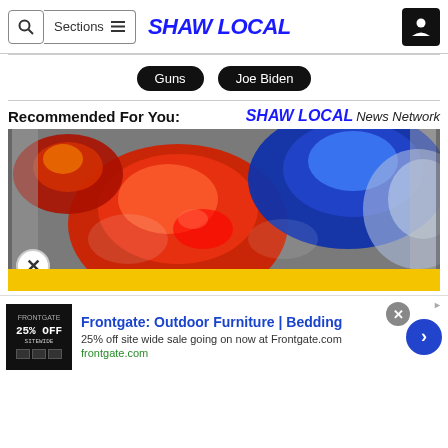SHAW LOCAL
Guns
Joe Biden
Recommended For You: SHAW LOCAL News Network
[Figure (photo): Close-up photo of police car red and blue emergency lights]
[Figure (infographic): Advertisement: Frontgate: Outdoor Furniture | Bedding. 25% off site wide sale going on now at Frontgate.com. frontgate.com]